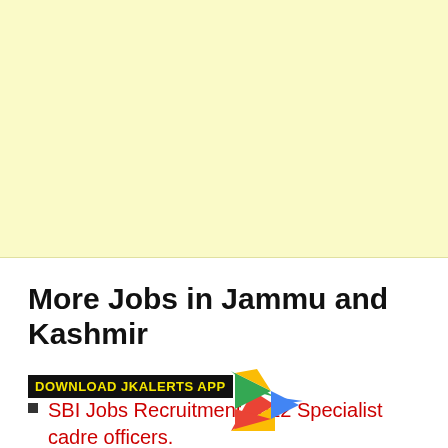[Figure (other): Yellow/cream colored advertisement placeholder block]
More Jobs in Jammu and Kashmir
[Figure (logo): DOWNLOAD JKALERTS APP badge overlay with Google Play Store triangle logo icon]
SBI Jobs Recruitment 2022 Specialist cadre officers.